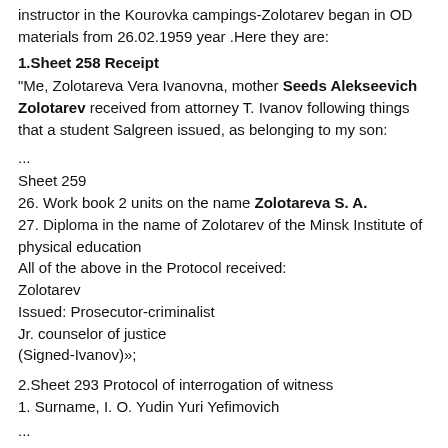instructor in the Kourovka campings-Zolotarev began in OD materials from 26.02.1959 year .Here they are:
1.Sheet 258 Receipt
"Me, Zolotareva Vera Ivanovna, mother Seeds Alekseevich Zolotarev received from attorney T. Ivanov following things that a student Salgreen issued, as belonging to my son:
...
Sheet 259
26. Work book 2 units on the name Zolotareva S. A.
27. Diploma in the name of Zolotarev of the Minsk Institute of physical education
All of the above in the Protocol received:
Zolotarev
Issued: Prosecutor-criminalist
Jr. counselor of justice
(Signed-Ivanov)»;
2.Sheet 293 Protocol of interrogation of witness
1. Surname, I. O. Yudin Yuri Yefimovich
...
"... Our group originally consisted of 11 people: me, Dyatlov, Kolmogorova, Dubinin, Doroshenko, Kolevatov, krivonischenko, Slobodin, Thibault-Brignoles, Bianco and Wisniewski. Subsequently Wisniewski and Bianco in the campaign decided not to participate, and two days before departure our group joined the instructor Kourovka campings Zolotarev S. A., which until then none of our